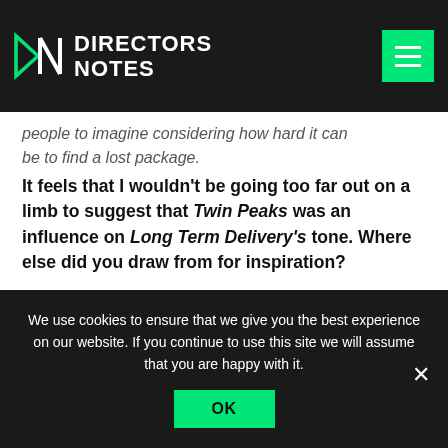DIRECTORS NOTES
people to imagine considering how hard it can be to find a lost package.
It feels that I wouldn't be going too far out on a limb to suggest that Twin Peaks was an influence on Long Term Delivery's tone. Where else did you draw from for inspiration?
It was definitely an inspiration. Twin Peaks has that signature off-kilter rural thing going on with oddball
We use cookies to ensure that we give you the best experience on our website. If you continue to use this site we will assume that you are happy with it.